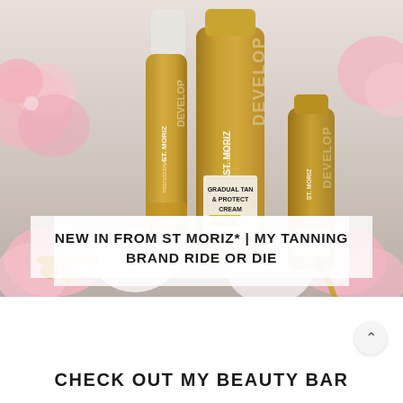[Figure (photo): Photo of St. Moriz Advanced Pro Formula tanning products (a foam/mousse bottle, a large tube of Gradual Tan & Protect Cream SPF30, and a smaller tube) arranged on a surface with pink flowers and rose gold accessories.]
NEW IN FROM ST MORIZ* | MY TANNING BRAND RIDE OR DIE
CHECK OUT MY BEAUTY BAR